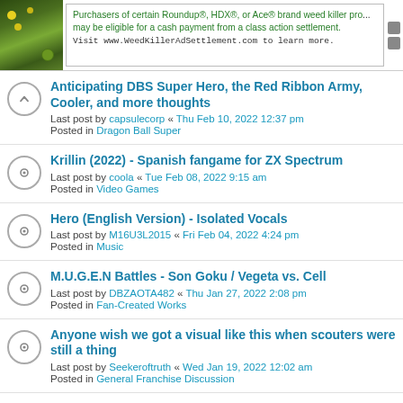[Figure (screenshot): Ad banner for WeedKillerAdSettlement.com with green plant background image and text about Roundup, HDX, Ace brand weed killer class action settlement]
Anticipating DBS Super Hero, the Red Ribbon Army, Cooler, and more thoughts
Last post by capsulecorp « Thu Feb 10, 2022 12:37 pm
Posted in Dragon Ball Super
Krillin (2022) - Spanish fangame for ZX Spectrum
Last post by coola « Tue Feb 08, 2022 9:15 am
Posted in Video Games
Hero (English Version) - Isolated Vocals
Last post by M16U3L2015 « Fri Feb 04, 2022 4:24 pm
Posted in Music
M.U.G.E.N Battles - Son Goku / Vegeta vs. Cell
Last post by DBZAOTA482 « Thu Jan 27, 2022 2:08 pm
Posted in Fan-Created Works
Anyone wish we got a visual like this when scouters were still a thing
Last post by Seekeroftruth « Wed Jan 19, 2022 12:02 am
Posted in General Franchise Discussion
DBZ Music Remix
Last post by Super 17 « Wed Jan 12, 2022 1:28 pm
Posted in Music